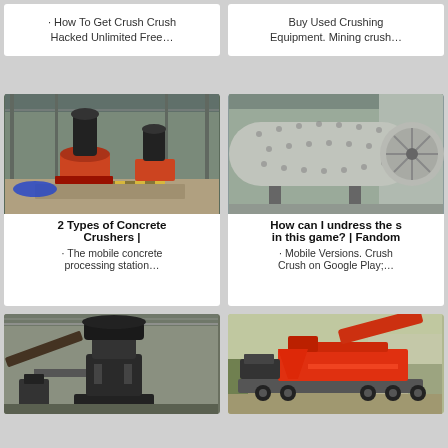· How To Get Crush Crush Hacked Unlimited Free…
Buy Used Crushing Equipment. Mining crush…
[Figure (photo): Industrial cone crushers on a factory floor with gravel and yellow safety markings]
2 Types of Concrete Crushers |
· The mobile concrete processing station…
[Figure (photo): Large cylindrical ball mill in an industrial warehouse setting]
How can I undress the s in this game? | Fandom
· Mobile Versions. Crush Crush on Google Play;…
[Figure (photo): Large vertical industrial crusher/mill machine in a warehouse]
[Figure (photo): Mobile crushing equipment on a truck/trailer outdoors]